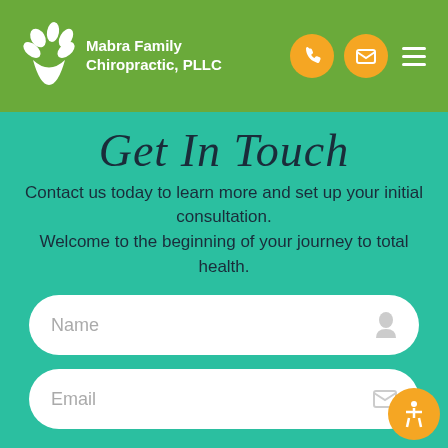Mabra Family Chiropractic, PLLC
Get In Touch
Contact us today to learn more and set up your initial consultation. Welcome to the beginning of your journey to total health.
Name
Email